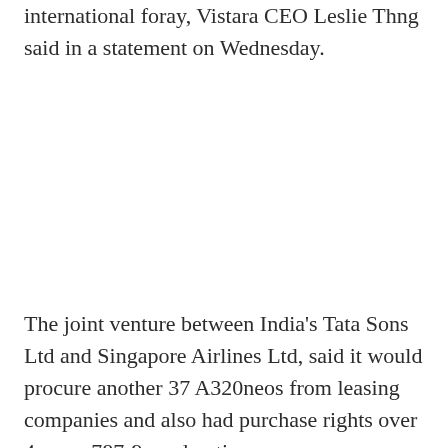international foray, Vistara CEO Leslie Thng said in a statement on Wednesday.
The joint venture between India's Tata Sons Ltd and Singapore Airlines Ltd, said it would procure another 37 A320neos from leasing companies and also had purchase rights over 4 more 787-9s and options over